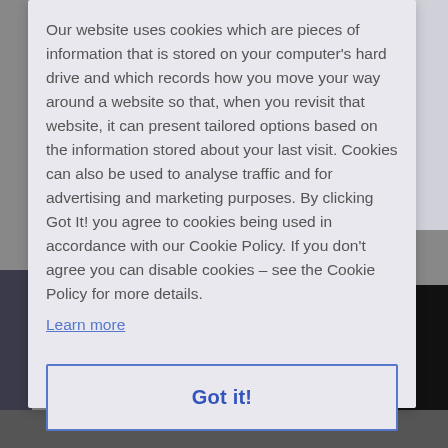Our website uses cookies which are pieces of information that is stored on your computer's hard drive and which records how you move your way around a website so that, when you revisit that website, it can present tailored options based on the information stored about your last visit. Cookies can also be used to analyse traffic and for advertising and marketing purposes. By clicking Got It! you agree to cookies being used in accordance with our Cookie Policy. If you don't agree you can disable cookies – see the Cookie Policy for more details.
Learn more
Got it!